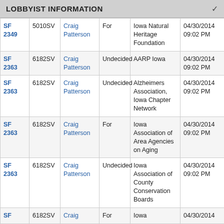LOBBYIST INFORMATION
|  |  |  |  |  |  |
| --- | --- | --- | --- | --- | --- |
| SF 2349 | 5010SV | Craig Patterson | For | Iowa Natural Heritage Foundation | 04/30/2014 09:02 PM |
| SF 2363 | 6182SV | Craig Patterson | Undecided | AARP Iowa | 04/30/2014 09:02 PM |
| SF 2363 | 6182SV | Craig Patterson | Undecided | Alzheimers Association, Iowa Chapter Network | 04/30/2014 09:02 PM |
| SF 2363 | 6182SV | Craig Patterson | For | Iowa Association of Area Agencies on Aging | 04/30/2014 09:02 PM |
| SF 2363 | 6182SV | Craig Patterson | Undecided | Iowa Association of County Conservation Boards | 04/30/2014 09:02 PM |
| SF | 6182SV | Craig | For | Iowa | 04/30/2014 |